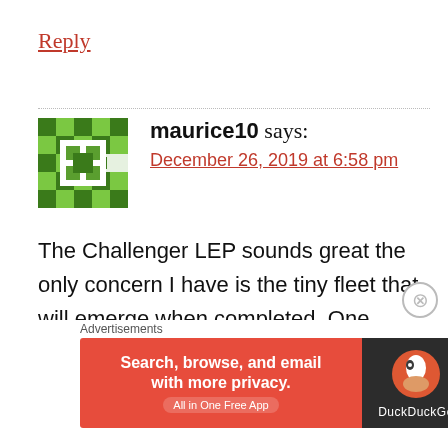Reply
[Figure (illustration): Green pixel/geometric avatar for user maurice10]
maurice10 says:
December 26, 2019 at 6:58 pm
The Challenger LEP sounds great the only concern I have is the tiny fleet that will emerge when completed. One possible solution may be smaller changes and channel our next MBT resources with the American's on the all-new M1 replacement. Such a plan would hinge on
Advertisements
[Figure (screenshot): DuckDuckGo advertisement banner: orange/red background with text 'Search, browse, and email with more privacy. All in One Free App' and DuckDuckGo duck logo on dark right panel]